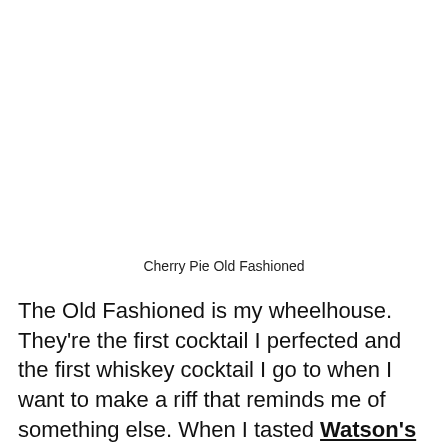Cherry Pie Old Fashioned
The Old Fashioned is my wheelhouse. They're the first cocktail I perfected and the first whiskey cocktail I go to when I want to make a riff that reminds me of something else. When I tasted Watson's barrel-aged maple syrup it make me think of that deep, cherry, maple